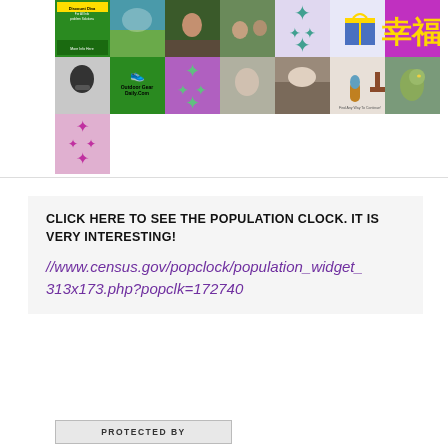[Figure (photo): Collage grid of thumbnail images including photos of people, nature scenes, decorative patterns, gift boxes, and other images arranged in a 3-row grid]
CLICK HERE TO SEE THE POPULATION CLOCK. IT IS VERY INTERESTING!
//www.census.gov/popclock/population_widget_313x173.php?popclk=172740
[Figure (other): PROTECTED BY button/badge at bottom of page]